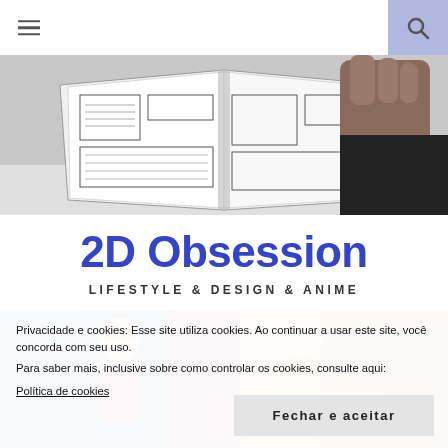≡  🔍
[Figure (photo): Person holding open a comic book / manga, black and white pages visible]
2D Obsession
LIFESTYLE & DESIGN & ANIME
[Figure (photo): Colorful anime-style illustration strip]
Privacidade e cookies: Esse site utiliza cookies. Ao continuar a usar este site, você concorda com seu uso.
Para saber mais, inclusive sobre como controlar os cookies, consulte aqui:
Política de cookies
Fechar e aceitar